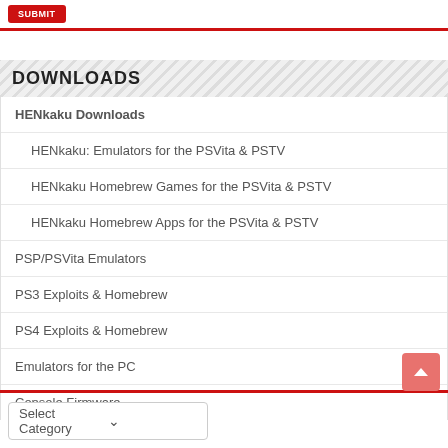SUBMIT
DOWNLOADS
HENkaku Downloads
HENkaku: Emulators for the PSVita & PSTV
HENkaku Homebrew Games for the PSVita & PSTV
HENkaku Homebrew Apps for the PSVita & PSTV
PSP/PSVita Emulators
PS3 Exploits & Homebrew
PS4 Exploits & Homebrew
Emulators for the PC
Console Firmware
Select Category